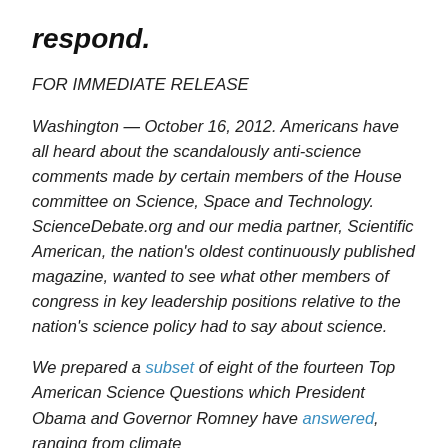respond.
FOR IMMEDIATE RELEASE
Washington — October 16, 2012. Americans have all heard about the scandalously anti-science comments made by certain members of the House committee on Science, Space and Technology. ScienceDebate.org and our media partner, Scientific American, the nation's oldest continuously published magazine, wanted to see what other members of congress in key leadership positions relative to the nation's science policy had to say about science.
We prepared a subset of eight of the fourteen Top American Science Questions which President Obama and Governor Romney have answered, ranging from climate